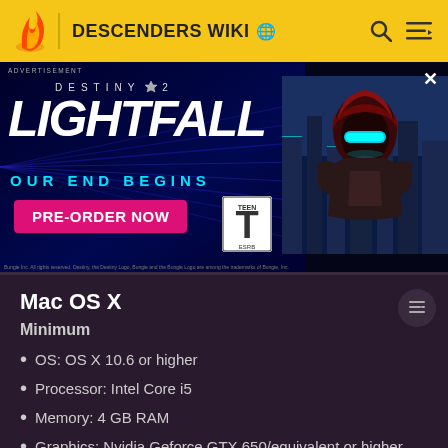DESCENDERS WIKI 🌐
[Figure (screenshot): Destiny 2 Lightfall advertisement banner with dark blue/purple background, large white LIGHTFALL text, cyan OUR END BEGINS tagline, pink PRE-ORDER NOW button, ESRB Teen rating, and a character image on the right showing an armored figure with glowing cyan visor]
Mac OS X
Minimum
OS: OS X 10.6 or higher
Processor: Intel Core i5
Memory: 4 GB RAM
Graphics: Nvidia Geforce GTX 650/equivalent or higher